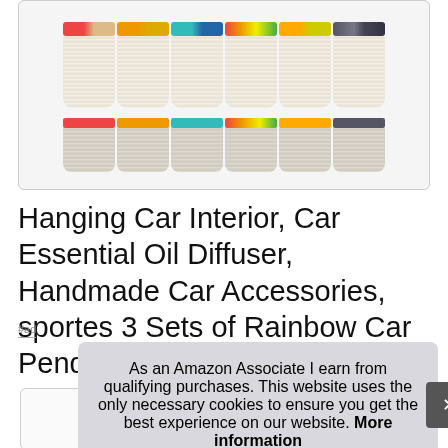[Figure (photo): Product image grid showing multiple tassel/macrame car pendant accessories in two rows. Top row shows 6 pendants with colorful woven tops and white fringe bodies. Bottom row shows 6 smaller views of the same pendants.]
Hanging Car Interior, Car Essential Oil Diffuser, Handmade Car Accessories, sportes 3 Sets of Rainbow Car Pendant
#ad
As an Amazon Associate I earn from qualifying purchases. This website uses the only necessary cookies to ensure you get the best experience on our website. More information